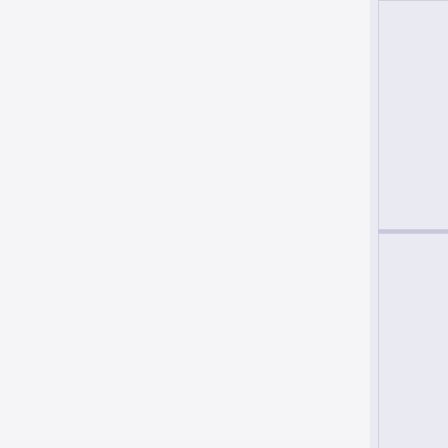2010/06/16
17:32
594 KB
[Figure (other): PDF file icon]
dissertacao...
2010/01/08
14:28
10.1 MB
multiреsoluti...